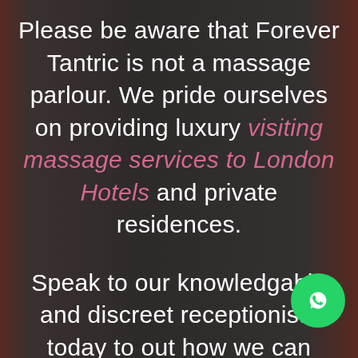Please be aware that Forever Tantric is not a massage parlour. We pride ourselves on providing luxury visiting massage services to London Hotels and private residences.
Speak to our knowledgable and discreet receptionists today to out how we can realise your tantric
[Figure (other): WhatsApp contact button - green circular button with WhatsApp phone icon in white]